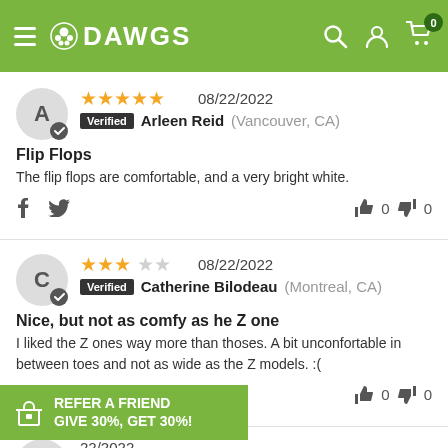DAWGS — navigation header with hamburger menu, logo, search, account, and cart icons
★★★★★ 08/22/2022 Verified Arleen Reid (Vancouver, CA)
Flip Flops
The flip flops are comfortable, and a very bright white.
f  🐦  👍 0  👎 0
★★★☆☆ 08/22/2022 Verified Catherine Bilodeau (Montreal, CA)
Nice, but not as comfy as he Z one
I liked the Z ones way more than thoses. A bit unconfortable in between toes and not as wide as the Z models. :(
f  🐦  👍 0  👎 0
REFER A FRIEND GIVE 30%, GET 30%!
08/22/2022 Verified Karen Bunner (St. Albert, CA)